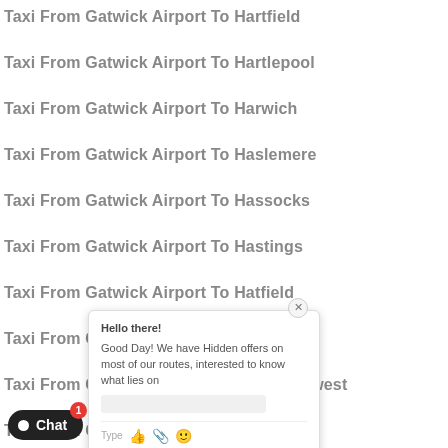Taxi From Gatwick Airport To Hartfield
Taxi From Gatwick Airport To Hartlepool
Taxi From Gatwick Airport To Harwich
Taxi From Gatwick Airport To Haslemere
Taxi From Gatwick Airport To Hassocks
Taxi From Gatwick Airport To Hastings
Taxi From Gatwick Airport To Hatfield
Taxi From Gatwick Airport To Havant
Taxi From Gatwick Airport To Haverfordwest
Taxi From Gatwick Airport To Haverhill
Taxi From Gatwick Airport To Hawick
Taxi From Gatwick Airport To Hayes
[Figure (screenshot): Chat popup widget with message: Hello there! Good Day! We have Hidden offers on most of our routes, interested to know what lies on... Type field with thumbs up, paperclip, and emoji icons. Chat now / enter button at bottom. Red notification badge showing 1. Dark Chat button at bottom left.]